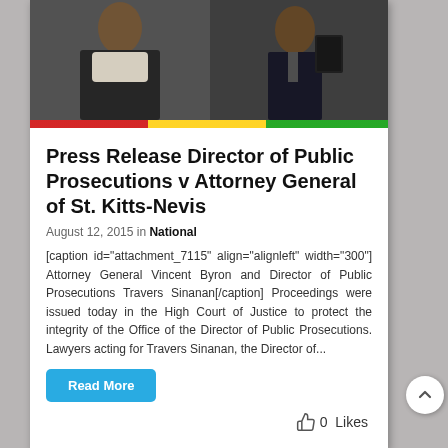[Figure (photo): Two men in formal/legal attire — one wearing court robes and one in a dark suit — photographed together]
Press Release Director of Public Prosecutions v Attorney General of St. Kitts-Nevis
August 12, 2015 in National
[caption id="attachment_7115" align="alignleft" width="300"] Attorney General Vincent Byron and Director of Public Prosecutions Travers Sinanan[/caption] Proceedings were issued today in the High Court of Justice to protect the integrity of the Office of the Director of Public Prosecutions. Lawyers acting for Travers Sinanan, the Director of...
Read More
0  Likes